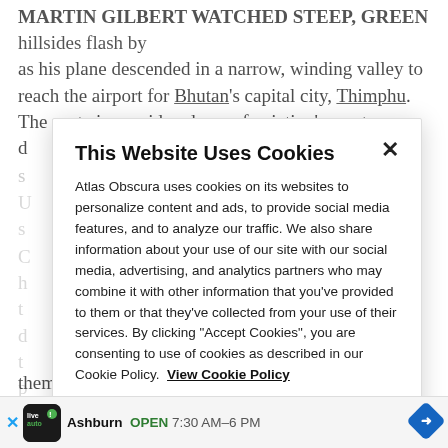MARTIN GILBERT WATCHED STEEP, GREEN hillsides flash by as his plane descended in a narrow, winding valley to reach the airport for Bhutan's capital city, Thimphu. The route is considered one of aviation's most d[...]
This Website Uses Cookies

Atlas Obscura uses cookies on its websites to personalize content and ads, to provide social media features, and to analyze our traffic. We also share information about your use of our site with our social media, advertising, and analytics partners who may combine it with other information that you've provided to them or that they've collected from your use of their services. By clicking "Accept Cookies", you are consenting to use of cookies as described in our Cookie Policy. View Cookie Policy
them b[...] ed with
Ashburn  OPEN  7:30 AM–6 PM